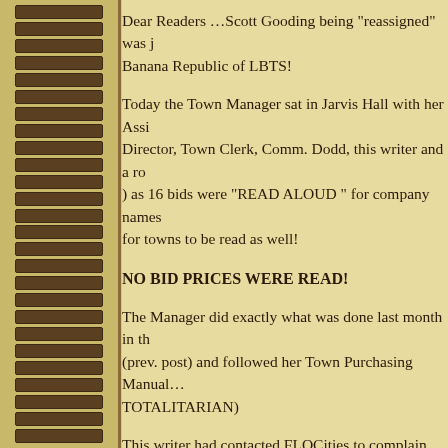Dear Readers …Scott Gooding being "reassigned" was just the latest sign we live in the Banana Republic of LBTS!
Today the Town Manager sat in Jarvis Hall with her Assistant, Finance Director, Town Clerk, Comm. Dodd, this writer and a room full of residents ) as 16 bids were "READ ALOUD " for company names and references and for towns to be read as well!
NO BID PRICES WERE READ!
The Manager did exactly what was done last month in the (prev. post) and followed her Town Purchasing Manual… TOTALITARIAN)
This writer had contacted FLOCities to complain about transparency after the last time the Town did this and was told the Commission and the Town's purchasing manual (see below) and that the Town would actually continue on with such a blatant thumb in the eye by doing it again with this kind of a turnout!…WOW